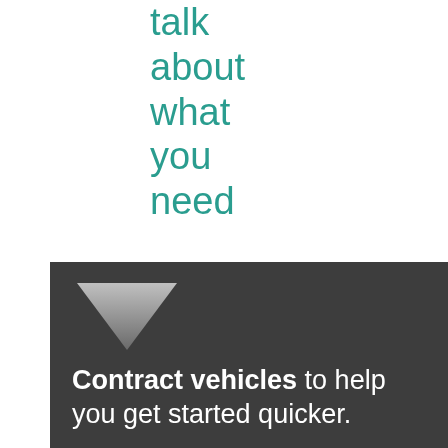talk about what you need
[Figure (illustration): A downward-pointing triangle/arrow graphic in grey gradient, used as a decorative icon before the contract vehicles text.]
Contract vehicles to help you get started quicker.